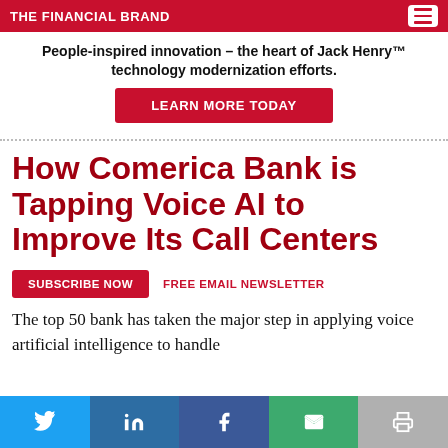The Financial Brand
People-inspired innovation – the heart of Jack Henry™ technology modernization efforts.
LEARN MORE TODAY
How Comerica Bank is Tapping Voice AI to Improve Its Call Centers
SUBSCRIBE NOW   FREE EMAIL NEWSLETTER
The top 50 bank has taken the major step in applying voice artificial intelligence to handle...